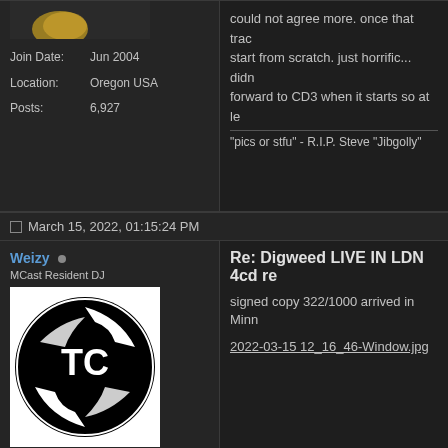[Figure (photo): Partial avatar image at top (yellow/gold colored object cropped)]
Join Date: Jun 2004
Location: Oregon USA
Posts: 6,927
"pics or stfu" - R.I.P. Steve "Jibgolly"
March 15, 2022, 01:15:24 PM
Weizy
MCast Resident DJ
[Figure (photo): Black and white circular logo featuring a Minnesota Twins style TC logo with a stylized face]
Join Date: Jun 2004
Location: Minneapolis, MN
Posts: 3,042
Re: Digweed LIVE IN LDN 4cd re
signed copy 322/1000 arrived in Minn
2022-03-15 12_16_46-Window.jpg